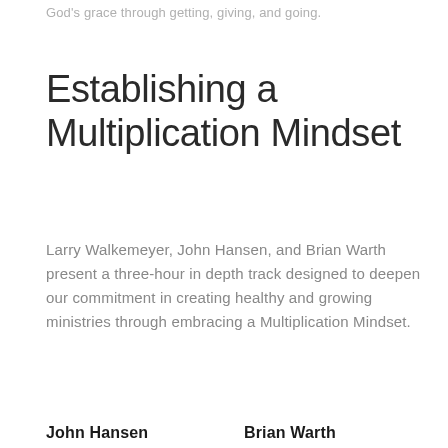God's grace through getting, giving, and going.
Establishing a Multiplication Mindset
Larry Walkemeyer, John Hansen, and Brian Warth present a three-hour in depth track designed to deepen our commitment in creating healthy and growing ministries through embracing a Multiplication Mindset.
John Hansen
Brian Warth